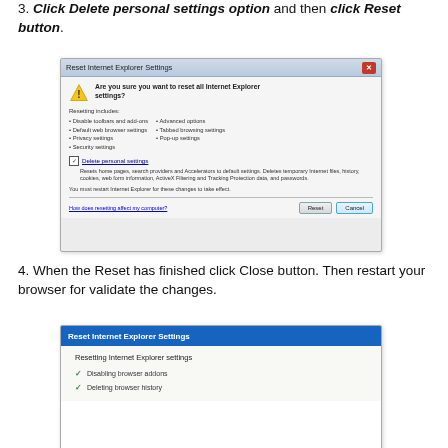3. Click Delete personal settings option and then click Reset button.
[Figure (screenshot): Screenshot of Reset Internet Explorer Settings dialog box with 'Are you sure you want to reset all Internet Explorer settings?' warning, showing list of items resetting includes (Disable toolbars and add-ons, Default web browser settings, Privacy settings, Security settings, Advanced options, Tabbed browsing settings, Pop-up settings), a checked 'Delete personal settings' checkbox with description, a note to restart, and Reset/Cancel buttons at the bottom.]
4. When the Reset has finished click Close button. Then restart your browser for validate the changes.
[Figure (screenshot): Screenshot of 'Reset Internet Explorer Settings' dialog showing progress: 'Resetting Internet Explorer settings' with checkmarks next to 'Disabling browser addons' and 'Deleting browser history'.]